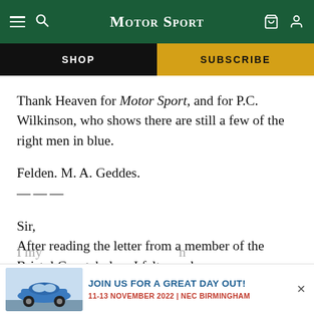Motor Sport — SHOP | SUBSCRIBE
Thank Heaven for Motor Sport, and for P.C. Wilkinson, who shows there are still a few of the right men in blue.
Felden. M. A. Geddes.
———
Sir,
After reading the letter from a member of the Bristol Constabulary I felt a reply was necessary.
[Figure (screenshot): Advertisement banner: 'JOIN US FOR A GREAT DAY OUT! 11-13 NOVEMBER 2022 | NEC BIRMINGHAM' with image of a blue Porsche 911]